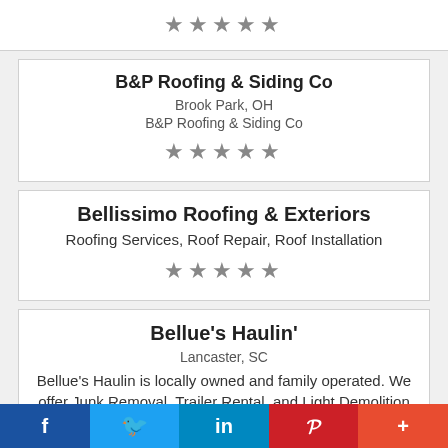★★★★★
B&P Roofing & Siding Co
Brook Park, OH
B&P Roofing & Siding Co
★★★★★
Bellissimo Roofing & Exteriors
Roofing Services, Roof Repair, Roof Installation
★★★★★
Bellue's Haulin'
Lancaster, SC
Bellue's Haulin is locally owned and family operated. We offer Junk Removal, Trailer Rental, and Light Demolition and serve the
f  🐦  in  P  +